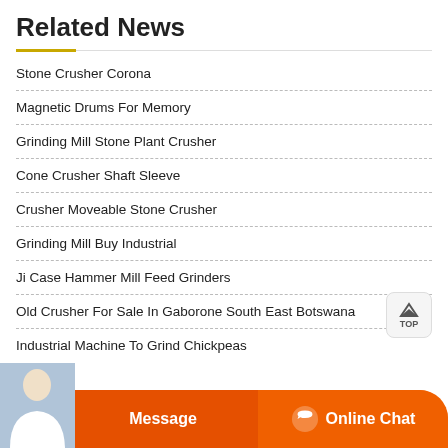Related News
Stone Crusher Corona
Magnetic Drums For Memory
Grinding Mill Stone Plant Crusher
Cone Crusher Shaft Sleeve
Crusher Moveable Stone Crusher
Grinding Mill Buy Industrial
Ji Case Hammer Mill Feed Grinders
Old Crusher For Sale In Gaborone South East Botswana
Industrial Machine To Grind Chickpeas